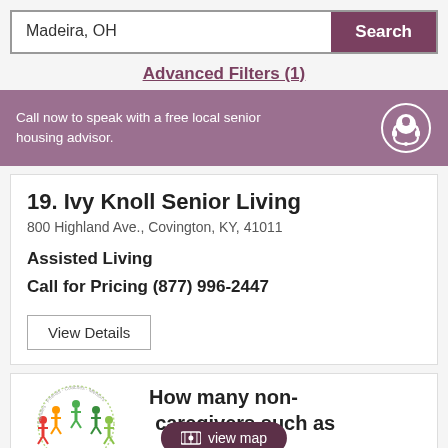Madeira, OH
Search
Advanced Filters (1)
Call now to speak with a free local senior housing advisor.
19. Ivy Knoll Senior Living
800 Highland Ave., Covington, KY, 41011
Assisted Living
Call for Pricing (877) 996-2447
View Details
How many non-caregivers such as